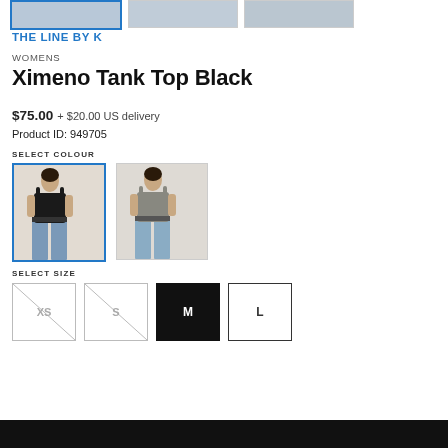[Figure (photo): Three product thumbnail images of a model wearing the tank top, shown in a horizontal row at the top of the page]
THE LINE BY K
WOMENS
Ximeno Tank Top Black
$75.00 + $20.00 US delivery
Product ID: 949705
SELECT COLOUR
[Figure (photo): Two colour swatch images: first shows model wearing black tank top with blue jeans (selected, highlighted with blue border); second shows model wearing grey tank top with blue jeans]
SELECT SIZE
[Figure (other): Four size selector buttons: XS (unavailable, crossed out), S (unavailable, crossed out), M (selected, black fill), L (available, outlined)]